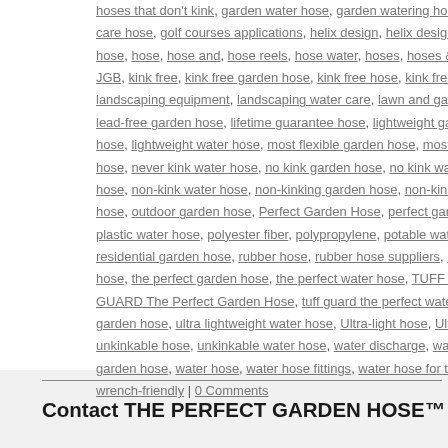hoses that don't kink, garden water hose, garden watering hose, gardening care hose, golf courses applications, helix design, helix design hose, helix w… hose, hose, hose and, hose reels, hose water, hoses, hoses & watering acce… JGB, kink free, kink free garden hose, kink free hose, kink free water hose, k… landscaping equipment, landscaping water care, lawn and garden care, lawn… lead-free garden hose, lifetime guarantee hose, lightweight garden hose, lig… hose, lightweight water hose, most flexible garden hose, most flexible hose,… hose, never kink water hose, no kink garden hose, no kink water hose, non-a… hose, non-kink water hose, non-kinking garden hose, non-kinking water hose… hose, outdoor garden hose, Perfect Garden Hose, perfect garden water, per… plastic water hose, polyester fiber, polypropylene, potable water hose, profes… residential garden hose, rubber hose, rubber hose suppliers, rubber water ho… hose, the perfect garden hose, the perfect water hose, TUFF GUARD, tuff g… GUARD The Perfect Garden Hose, tuff guard the perfect water, tuff guard wa… garden hose, ultra lightweight water hose, Ultra-light hose, Ultralight hose, U… unkinkable hose, unkinkable water hose, water discharge, water discharge h… garden hose, water hose, water hose fittings, water hose for the garden, wa… wrench-friendly | 0 Comments
Contact THE PERFECT GARDEN HOSE™ Customer Service at (